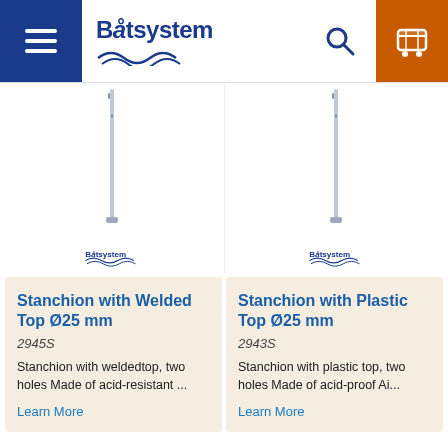Båtsystem navigation header with logo, search and cart
[Figure (photo): Stanchion with Welded Top product photo - tall thin metal pole]
[Figure (photo): Stanchion with Plastic Top product photo - tall thin metal pole]
Stanchion with Welded Top Ø25 mm
2945S
Stanchion with weldedtop, two holes Made of acid-resistant ...
Learn More
Stanchion with Plastic Top Ø25 mm
2943S
Stanchion with plastic top, two holes Made of acid-proof Ai...
Learn More
[Figure (photo): Round black product - partial view at bottom left]
[Figure (photo): Round product - partial view at bottom right]